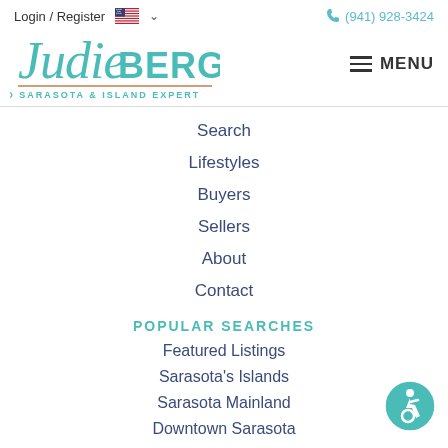Login / Register   🇺🇸 ∨    (941) 928-3424
[Figure (logo): Judie Berger – Your Trusted Sarasota & Island Expert logo with teal cursive and bold text]
Search
Lifestyles
Buyers
Sellers
About
Contact
POPULAR SEARCHES
Featured Listings
Sarasota's Islands
Sarasota Mainland
Downtown Sarasota